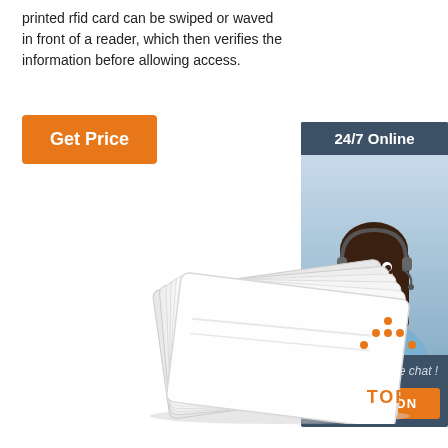printed rfid card can be swiped or waved in front of a reader, which then verifies the information before allowing access.
[Figure (other): Orange 'Get Price' button]
[Figure (other): Sidebar with '24/7 Online' header, customer service representative photo wearing headset, 'Click here for free chat!' text, and orange 'QUOTATION' button]
[Figure (photo): Stack of white RFID cards fanned out]
[Figure (other): Orange 'TOP' back-to-top button with dotted triangle icon]